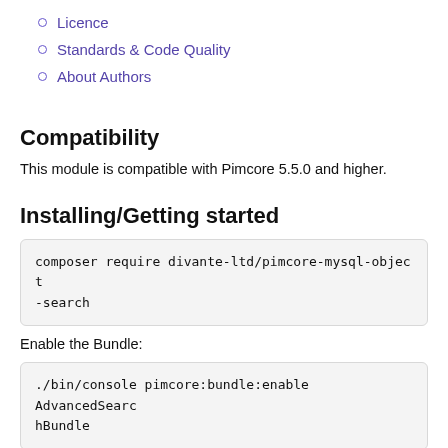Licence
Standards & Code Quality
About Authors
Compatibility
This module is compatible with Pimcore 5.5.0 and higher.
Installing/Getting started
composer require divante-ltd/pimcore-mysql-object-search
Enable the Bundle:
./bin/console pimcore:bundle:enable AdvancedSearchBundle